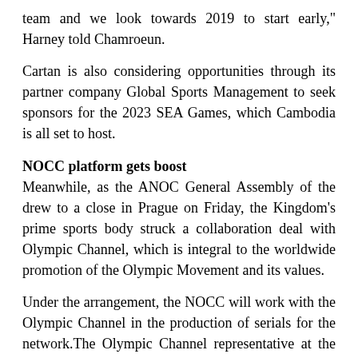team and we look towards 2019 to start early," Harney told Chamroeun.
Cartan is also considering opportunities through its partner company Global Sports Management to seek sponsors for the 2023 SEA Games, which Cambodia is all set to host.
NOCC platform gets boost
Meanwhile, as the ANOC General Assembly of the drew to a close in Prague on Friday, the Kingdom's prime sports body struck a collaboration deal with Olympic Channel, which is integral to the worldwide promotion of the Olympic Movement and its values.
Under the arrangement, the NOCC will work with the Olympic Channel in the production of serials for the network.The Olympic Channel representative at the ongoing ANOC General Assembly in Prague, John Palfrey, met with NOCC adviser Gadaffi and lauded the work done on the redeveloped website.
He indicated the channel's desire to use that platform to promote the Olympic Movement and the work of the channel.The Olympic Channel will produce news, serials, documentaries and archives for the Cambodian Olympic committee, which can be viewed on the NOCC website.